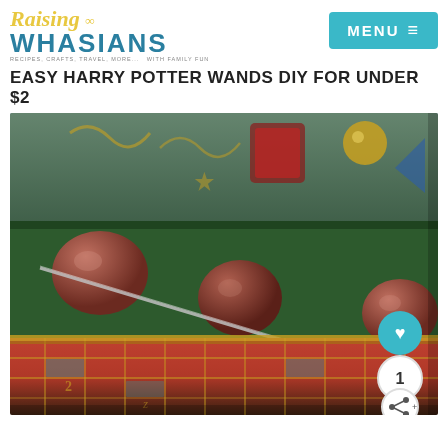Raising Whasians — RECIPES, CRAFTS, TRAVEL, MORE... WITH FAMILY FUN
EASY HARRY POTTER WANDS DIY FOR UNDER $2
[Figure (photo): Photo of a Harry Potter-style wand resting in a decorated wizard trunk/box. The box interior is lined with dark green fabric. Several brown spherical objects (chocolate frogs or similar) are inside. The wand has a brownish-pink handle with texture and a thin metal/clear shaft. The exterior of the box is decorated with colorful mosaic-style tile patterns in red, teal, gold, and blue. A heart icon button (teal circle), a count of 1, and a share button overlay the bottom-right corner of the image.]